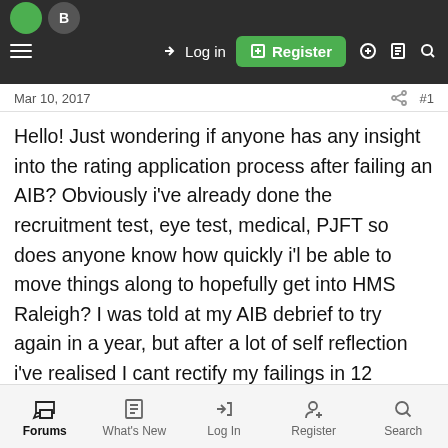Log in | Register (navigation bar)
Mar 10, 2017
Hello! Just wondering if anyone has any insight into the rating application process after failing an AIB? Obviously i've already done the recruitment test, eye test, medical, PJFT so does anyone know how quickly i'l be able to move things along to hopefully get into HMS Raleigh? I was told at my AIB debrief to try again in a year, but after a lot of self reflection i've realised I cant rectify my failings in 12 months, and ultimately I want a career in the Royal Navy more than I want to be an officer. I'l be phoning up my ACLO in due course for advice, just wondering if anyone has had a similar experience.
Forums | What's New | Log In | Register | Search